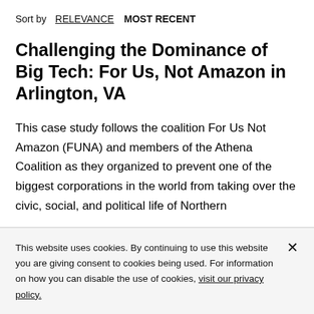Sort by  RELEVANCE  MOST RECENT
Challenging the Dominance of Big Tech: For Us, Not Amazon in Arlington, VA
This case study follows the coalition For Us Not Amazon (FUNA) and members of the Athena Coalition as they organized to prevent one of the biggest corporations in the world from taking over the civic, social, and political life of Northern
This website uses cookies. By continuing to use this website you are giving consent to cookies being used. For information on how you can disable the use of cookies, visit our privacy policy.